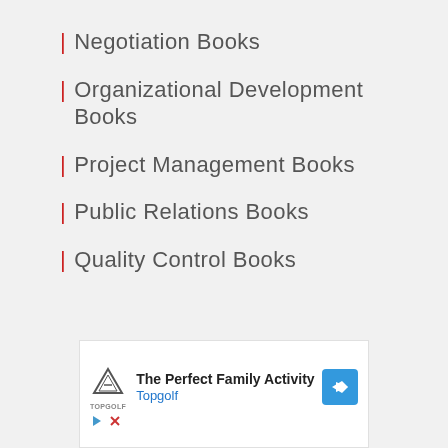| Negotiation Books
| Organizational Development Books
| Project Management Books
| Public Relations Books
| Quality Control Books
[Figure (other): Advertisement banner for Topgolf: 'The Perfect Family Activity' with Topgolf logo and navigation arrow icon, plus ad controls (play and close icons)]